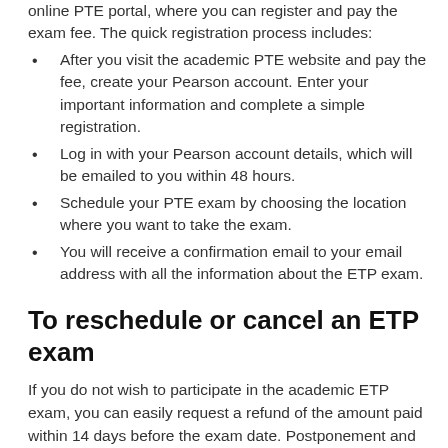online PTE portal, where you can register and pay the exam fee. The quick registration process includes:
After you visit the academic PTE website and pay the fee, create your Pearson account. Enter your important information and complete a simple registration.
Log in with your Pearson account details, which will be emailed to you within 48 hours.
Schedule your PTE exam by choosing the location where you want to take the exam.
You will receive a confirmation email to your email address with all the information about the ETP exam.
To reschedule or cancel an ETP exam
If you do not wish to participate in the academic ETP exam, you can easily request a refund of the amount paid within 14 days before the exam date. Postponement and cancellation of the PTE exam is possible on the official website of PTE. Candidates can easily reschedule their PTE exam online or by phone. You can apply for a